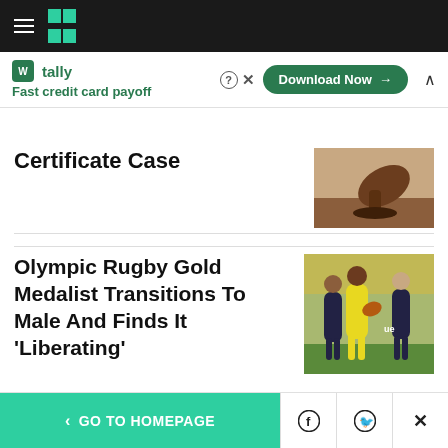HuffPost navigation bar with hamburger menu and logo
[Figure (screenshot): Tally app advertisement banner: 'Fast credit card payoff' with Download Now button]
Certificate Case
[Figure (photo): Photo of a wooden gavel on a desk]
Olympic Rugby Gold Medalist Transitions To Male And Finds It 'Liberating'
[Figure (photo): Photo of women's rugby players competing on a field]
GO TO HOMEPAGE  [Facebook] [Twitter] [X]